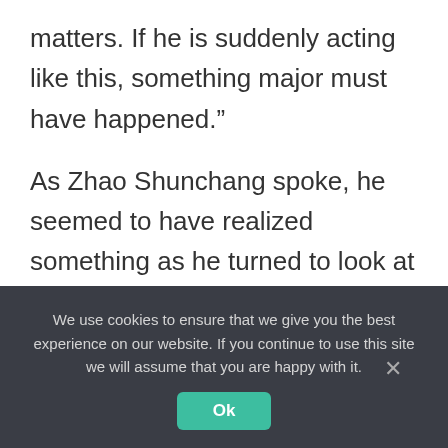matters. If he is suddenly acting like this, something major must have happened.”
As Zhao Shunchang spoke, he seemed to have realized something as he turned to look at Sun Fengzi. He probed her. “Did you do something again?”
Sun Fengzi’s heart sank slightly, but she tried her best to act casually. She forced a smile and
We use cookies to ensure that we give you the best experience on our website. If you continue to use this site we will assume that you are happy with it.